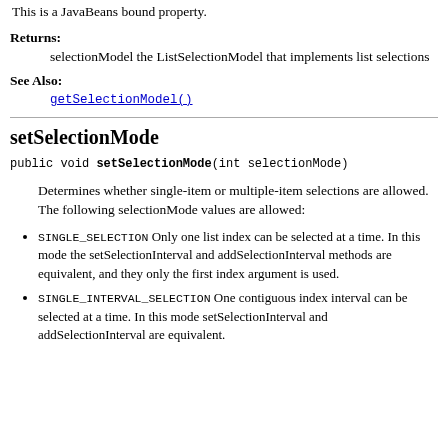This is a JavaBeans bound property.
Returns: selectionModel the ListSelectionModel that implements list selections
See Also:
getSelectionModel()
setSelectionMode
public void setSelectionMode(int selectionMode)
Determines whether single-item or multiple-item selections are allowed. The following selectionMode values are allowed:
SINGLE_SELECTION Only one list index can be selected at a time. In this mode the setSelectionInterval and addSelectionInterval methods are equivalent, and they only the first index argument is used.
SINGLE_INTERVAL_SELECTION One contiguous index interval can be selected at a time. In this mode setSelectionInterval and addSelectionInterval are equivalent.